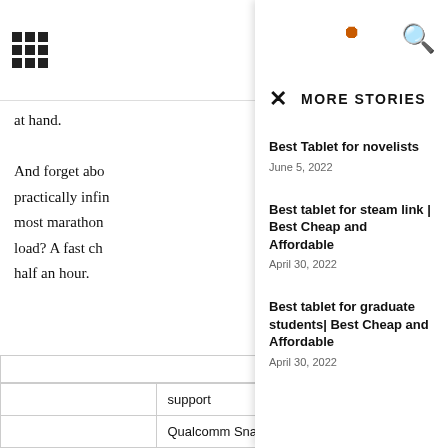at hand.
And forget abo practically infin most marathon load? A fast ch half an hour.
SCREEN
MORE STORIES
Best Tablet for novelists
June 5, 2022
Best tablet for steam link | Best Cheap and Affordable
April 30, 2022
Best tablet for graduate students| Best Cheap and Affordable
April 30, 2022
|  | support |
|  | Qualcomm Snapdragon 860 with 8 |